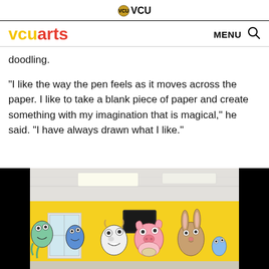VCU / VCUarts — site header with logo and navigation (MENU, search icon)
doodling.
“I like the way the pen feels as it moves across the paper. I like to take a blank piece of paper and create something with my imagination that is magical,” he said. “I have always drawn what I like.”
[Figure (photo): Photograph of a colorful mural on a yellow wall featuring cartoon characters including monsters, animals (pig, rabbit, cow), and fantastical creatures in a room with white ceiling tiles and fluorescent lighting. The image is cropped with black bars on left and right sides.]